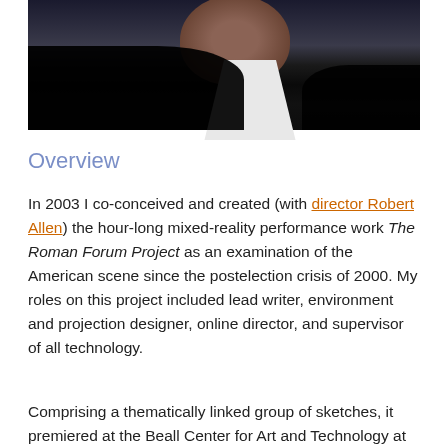[Figure (photo): A dark photograph showing a person's face and upper body, with dark silhouetted figures in the foreground]
Overview
In 2003 I co-conceived and created (with director Robert Allen) the hour-long mixed-reality performance work The Roman Forum Project as an examination of the American scene since the postelection crisis of 2000. My roles on this project included lead writer, environment and projection designer, online director, and supervisor of all technology.
Comprising a thematically linked group of sketches, it premiered at the Beall Center for Art and Technology at